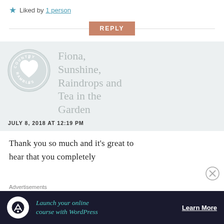★ Liked by 1 person
REPLY
[Figure (logo): Country Rambles circular logo with heart, light grey on white]
Fiona, Sunshine, Raindrops and Tea in the Garden
JULY 8, 2018 AT 12:19 PM
Thank you so much and it's great to hear that you completely
Advertisements
[Figure (screenshot): Advertisement banner: Launch your online course with WordPress. Learn More.]